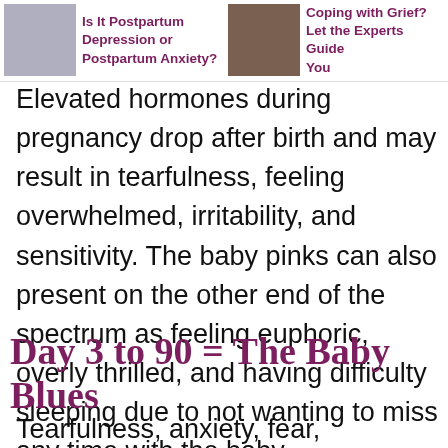[Figure (illustration): Thumbnail image of a person, possibly a mother with baby, gray-toned]
Is It Postpartum Depression or Postpartum Anxiety?
[Figure (photo): Thumbnail image of a person being comforted, warm brown tones]
Coping with Grief? Let the Experts Guide You
Elevated hormones during pregnancy drop after birth and may result in tearfulness, feeling overwhelmed, irritability, and sensitivity. The baby pinks can also present on the other end of the spectrum as feeling euphoric, overly thrilled, and having difficulty sleeping due to not wanting to miss any time with the baby.
Day 3 to 90 = The Baby Blues
Tearfulness, anxiety, fear, insomnia, and feeling